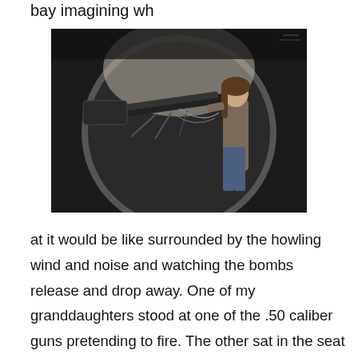bay imagining wh
[Figure (photo): A person (young woman/girl with long hair) standing at a .50 caliber machine gun mounted in the open bomb bay or gun position of a large vintage bomber aircraft. The circular opening of the aircraft fuselage is visible around her.]
at it would be like surrounded by the howling wind and noise and watching the bombs release and drop away. One of my granddaughters stood at one of the .50 caliber guns pretending to fire. The other sat in the seat where the radioman sat. As we passed through the plane and back onto the runway, we stopped and marveled at the small plexi-glass “bubble”, underneath the plane where the ball turret gunner sat and fired at the enemy with little protection for himself from the cold or enemy fire.